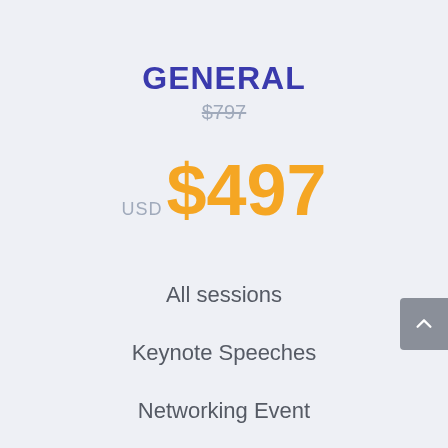GENERAL
$797
USD $497
All sessions
Keynote Speeches
Networking Event
Cocktail Reception
Meet Our Team/Coaches